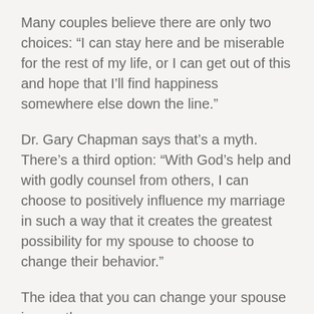Many couples believe there are only two choices: “I can stay here and be miserable for the rest of my life, or I can get out of this and hope that I’ll find happiness somewhere else down the line.”
Dr. Gary Chapman says that’s a myth. There’s a third option: “With God’s help and with godly counsel from others, I can choose to positively influence my marriage in such a way that it creates the greatest possibility for my spouse to choose to change their behavior.”
The idea that you can change your spouse is a myth.
Topics: Family and Home
Tags: broadcast, faith, husband, marriage, wife